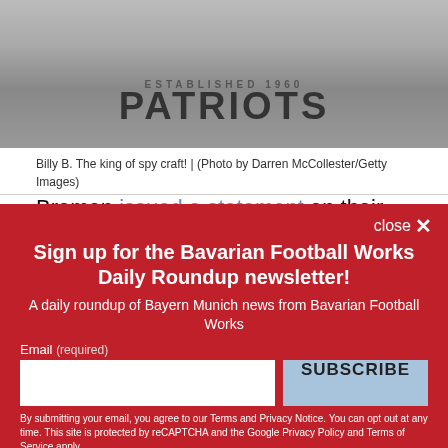[Figure (photo): Person wearing a gray Patriots hoodie sweatshirt, upper body visible, at what appears to be a press conference]
Billy B. The king of spy craft!  |  (Photo by Darren McCollester/Getty Images)
Bremen issued a statement on their web site
Sign up for the Bavarian Football Works Daily Roundup newsletter!
A daily roundup of Bayern Munich news from Bavarian Football Works
Email (required)
By submitting your email, you agree to our Terms and Privacy Notice. You can opt out at any time. This site is protected by reCAPTCHA and the Google Privacy Policy and Terms of Service apply.